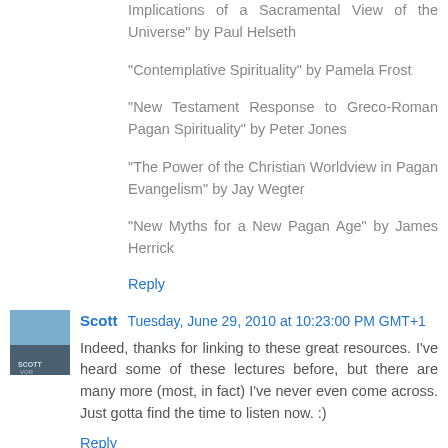"Implications of a Sacramental View of the Universe" by Paul Helseth
"Contemplative Spirituality" by Pamela Frost
"New Testament Response to Greco-Roman Pagan Spirituality" by Peter Jones
"The Power of the Christian Worldview in Pagan Evangelism" by Jay Wegter
"New Myths for a New Pagan Age" by James Herrick
Reply
Scott  Tuesday, June 29, 2010 at 10:23:00 PM GMT+1
Indeed, thanks for linking to these great resources. I've heard some of these lectures before, but there are many more (most, in fact) I've never even come across. Just gotta find the time to listen now. :)
Reply